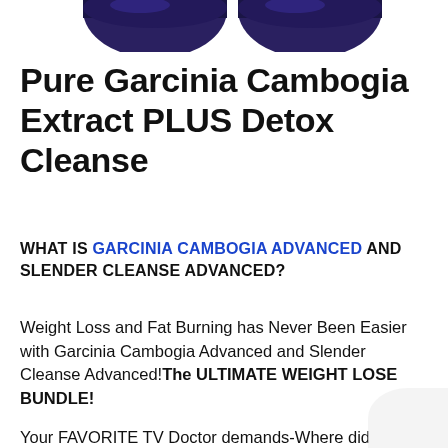[Figure (photo): Partial top view of two dark supplement/pill bottles with blue caps, cropped at the top of the page]
Pure Garcinia Cambogia Extract PLUS Detox Cleanse
WHAT IS GARCINIA CAMBOGIA ADVANCED AND SLENDER CLEANSE ADVANCED?
Weight Loss and Fat Burning has Never Been Easier with Garcinia Cambogia Advanced and Slender Cleanse Advanced!The ULTIMATE WEIGHT LOSE BUNDLE!
Your FAVORITE TV Doctor demands-Where did